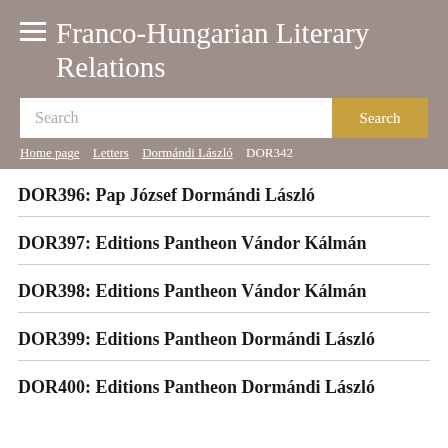Franco-Hungarian Literary Relations
Search
Home page / Letters / Dormándi László / DOR342
DOR396: Pap József Dormándi László
DOR397: Editions Pantheon Vándor Kálmán
DOR398: Editions Pantheon Vándor Kálmán
DOR399: Editions Pantheon Dormándi László
DOR400: Editions Pantheon Dormándi László